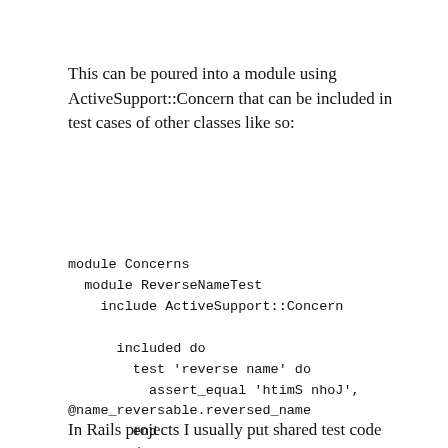This can be poured into a module using ActiveSupport::Concern that can be included in test cases of other classes like so:
module Concerns
  module ReverseNameTest
    include ActiveSupport::Concern

      included do
        test 'reverse name' do
          assert_equal 'htimS nhoJ',
@name_reversable.reversed_name
        end
      end
  end
end
In Rails projects I usually put shared test code inside the